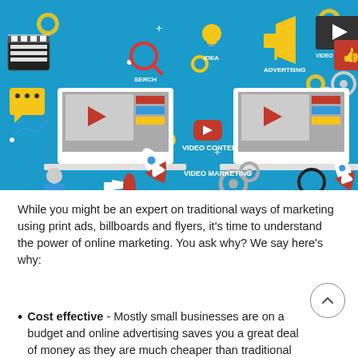[Figure (infographic): Digital/video marketing infographic on blue background with icons for video content, video marketing, advertising, search, idea, success, user, process, rocket, target, laptop screens with video players, megaphone, gears, coins, thumbs up, and lightbulb. Labels include: VIDEO CONTENT, VIDEO MARKETING, ADVERTISNG, SERCH, IDEA, SUCCESS, USER, PROCESS.]
While you might be an expert on traditional ways of marketing using print ads, billboards and flyers, it's time to understand the power of online marketing. You ask why? We say here's why:
Cost effective - Mostly small businesses are on a budget and online advertising saves you a great deal of money as they are much cheaper than traditional